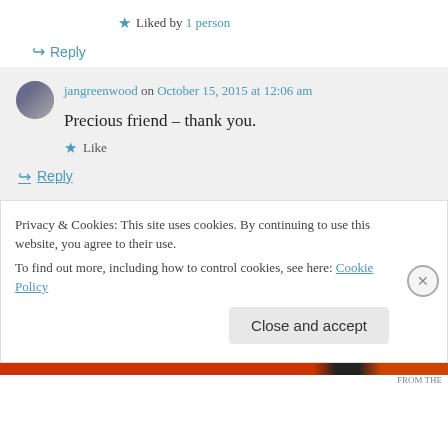★ Liked by 1 person
↪ Reply
jangreenwood on October 15, 2015 at 12:06 am
Precious friend – thank you.
★ Like
↪ Reply
Privacy & Cookies: This site uses cookies. By continuing to use this website, you agree to their use.
To find out more, including how to control cookies, see here: Cookie Policy
Close and accept